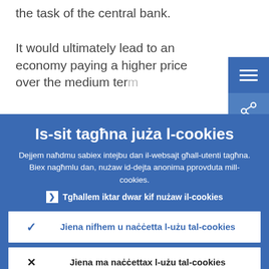the task of the central bank.
It would ultimately lead to an economy paying a higher price over the medium term in terms of low but not stable...
Is-sit tagħna juża l-cookies
Dejjem naħdmu sabiex intejbu dan il-websajt għall-utenti tagħna. Biex nagħmlu dan, nużaw id-dejta anonima pprovduta mill-cookies.
▸ Tgħallem iktar dwar kif nużaw il-cookies
✓ Jiena nifhem u naċċetta l-użu tal-cookies
✗ Jiena ma naċċettax l-użu tal-cookies